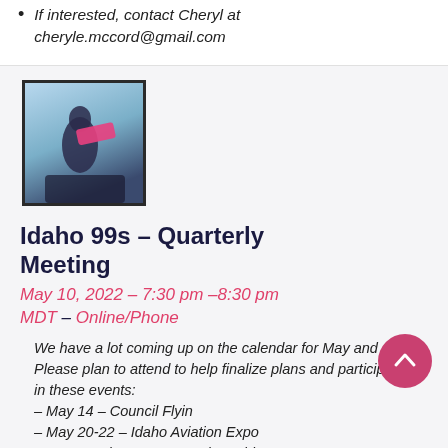If interested, contact Cheryl at cheryle.mccord@gmail.com
[Figure (illustration): Square image with dark border showing a figure with pink banner/sign against a blue gradient background]
Idaho 99s – Quarterly Meeting
May 10, 2022 – 7:30 pm –8:30 pm MDT – Online/Phone
We have a lot coming up on the calendar for May and June. Please plan to attend to help finalize plans and participation in these events:
– May 14 – Council Flyin
– May 20-22 – Idaho Aviation Expo
– Jun 1 – Chapter Dues to be paid